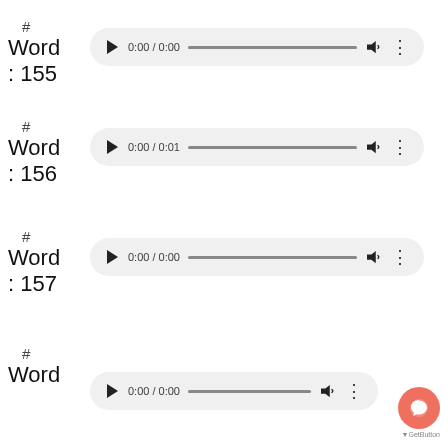# Word : 155
[Figure (other): Audio player showing 0:00 / 0:00 with play button, progress bar, volume, and menu]
# Word : 156
[Figure (other): Audio player showing 0:00 / 0:01 with play button, progress bar, volume, and menu]
# Word : 157
[Figure (other): Audio player showing 0:00 / 0:00 with play button, progress bar, volume, and menu]
# Word
[Figure (other): Audio player showing 0:00 / 0:00 with play button, progress bar, volume, and menu]
[Figure (other): GetButton chat widget icon (orange circle with speech bubble)]